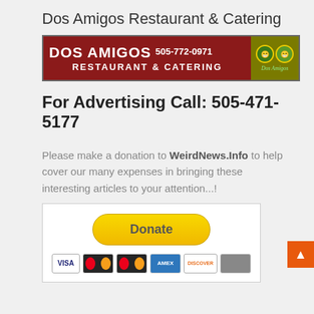Dos Amigos Restaurant & Catering
[Figure (logo): Dos Amigos Restaurant & Catering banner ad with dark red background, showing 'DOS AMIGOS' in large white text, phone number 505-772-0971, 'RESTAURANT & CATERING' subtitle, and a decorative logo on the right.]
For Advertising Call: 505-471-5177
Please make a donation to WeirdNews.Info to help cover our many expenses in bringing these interesting articles to your attention...!
[Figure (other): PayPal Donate button (yellow rounded rectangle) with credit card icons below: Visa, Mastercard, Mastercard, American Express, Discover, and another card.]